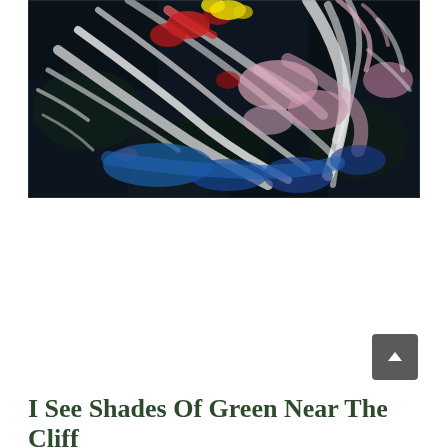[Figure (illustration): Abstract expressionist painting with bold brushstrokes featuring dark navy/black background with vigorous white, pink, red, yellow, and blue paint strokes applied in a chaotic, energetic pattern suggesting a cliff or landscape scene]
I See Shades Of Green Near The Cliff